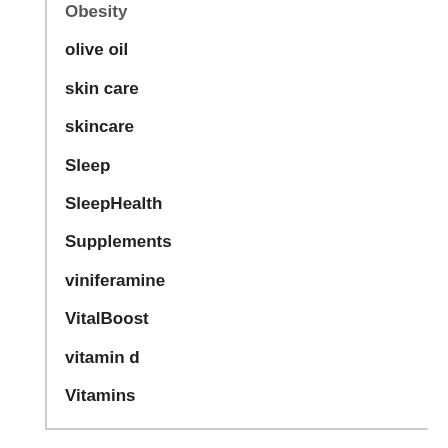Obesity
olive oil
skin care
skincare
Sleep
SleepHealth
Supplements
viniferamine
VitalBoost
vitamin d
Vitamins